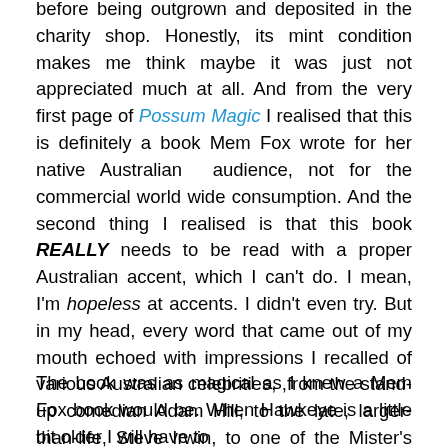before being outgrown and deposited in the charity shop. Honestly, its mint condition makes me think maybe it was just not appreciated much at all. And from the very first page of Possum Magic I realised that this is definitely a book Mem Fox wrote for her native Australian audience, not for the commercial world wide consumption. And the second thing I realised is that this book REALLY needs to be read with a proper Australian accent, which I can't do. I mean, I'm hopeless at accents. I didn't even try. But in my head, every word that came out of my mouth echoed with impressions I recalled of various Australian celebrities, ,from the stand-up comedian Adam Hill, to the late, larger-than-life, Steve Irwin, to one of the Mister's cousins-by-marriage.
The book was as magical as I knew a Mem Fox book would be. When Hawkeye is a little bit older I will have to